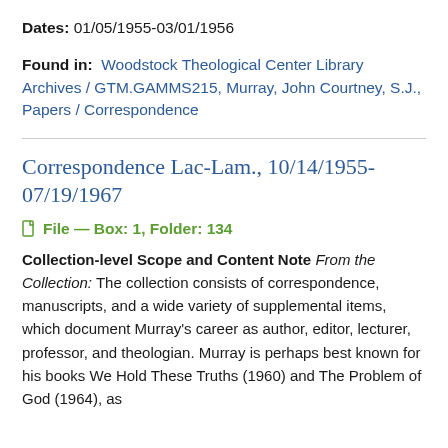Dates: 01/05/1955-03/01/1956
Found in: Woodstock Theological Center Library Archives / GTM.GAMMS215, Murray, John Courtney, S.J., Papers / Correspondence
Correspondence Lac-Lam., 10/14/1955-07/19/1967
File — Box: 1, Folder: 134
Collection-level Scope and Content Note From the Collection: The collection consists of correspondence, manuscripts, and a wide variety of supplemental items, which document Murray's career as author, editor, lecturer, professor, and theologian. Murray is perhaps best known for his books We Hold These Truths (1960) and The Problem of God (1964), as